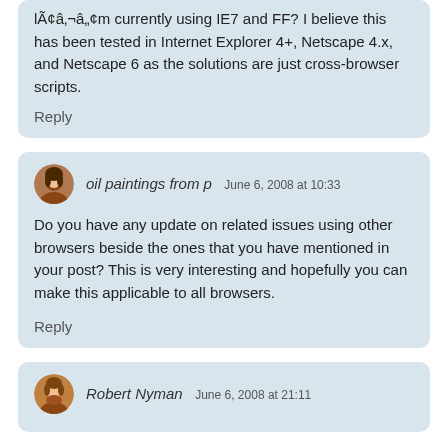lÃ¢â‚¬â„¢m currently using IE7 and FF? I believe this has been tested in Internet Explorer 4+, Netscape 4.x, and Netscape 6 as the solutions are just cross-browser scripts.
Reply
oil paintings from p  June 6, 2008 at 10:33
Do you have any update on related issues using other browsers beside the ones that you have mentioned in your post? This is very interesting and hopefully you can make this applicable to all browsers.
Reply
Robert Nyman  June 6, 2008 at 21:11